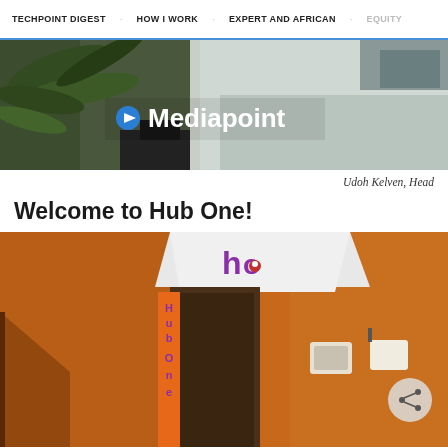TECHPOINT DIGEST  HOW I WORK  EXPERT AND AFRICAN  EQUITY
[Figure (photo): Mediapoint banner image showing an office interior with plants and a desk surface, overlaid with Mediapoint logo text in white with blue icon]
Udoh Kelven, Head
Welcome to Hub One!
[Figure (photo): Interior photo of Hub One coworking space entrance showing orange textured walls, a door with purple 'Hub One' vertical signage, and the 'ho' logo on the wall above; a share button visible on the right]